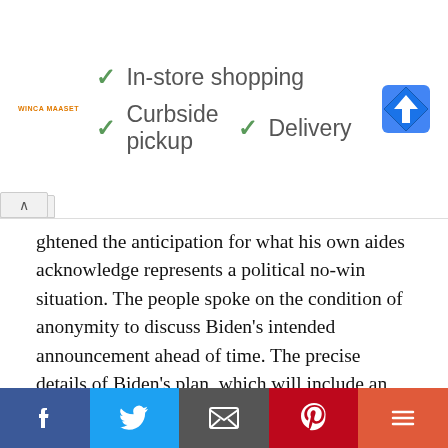[Figure (infographic): Walmart advertisement banner showing checkmarks for In-store shopping, Curbside pickup, and Delivery options, with Walmart logo and Google Maps icon]
ghtened the anticipation for what his own aides acknowledge represents a political no-win situation. The people spoke on the condition of anonymity to discuss Biden's intended announcement ahead of time. The precise details of Biden's plan, which will include an income cap limiting the forgiveness to only those earning less than $125,000 a year, were being kept to an unusually small circle within the Biden administration and were still not finalized on the eve of the announcement. Down-to-the-wire
[Figure (infographic): Social media share bar with Facebook, Twitter, Email, Pinterest, and More buttons]